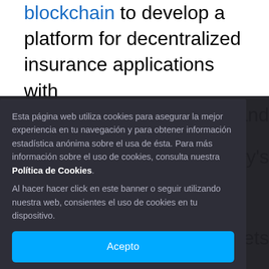blockchain to develop a platform for decentralized insurance applications with
[Figure (screenshot): Cookie consent overlay in Spanish with dark background. Text reads: 'Esta página web utiliza cookies para asegurar la mejor experiencia en tu navegación y para obtener información estadística anónima sobre el usa de ésta. Para más información sobre el uso de cookies, consulta nuestra Política de Cookies. Al hacer hacer click en este banner o seguir utilizando nuestra web, consientes el uso de cookies en tu dispositivo.' with an 'Acepto' button.]
Nexus Mutual and Bridge Mutual are two